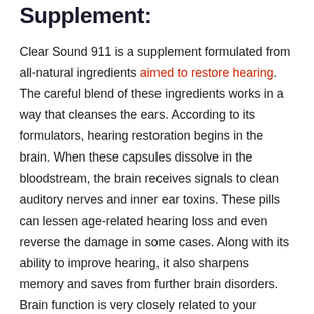Supplement:
Clear Sound 911 is a supplement formulated from all-natural ingredients aimed to restore hearing. The careful blend of these ingredients works in a way that cleanses the ears. According to its formulators, hearing restoration begins in the brain. When these capsules dissolve in the bloodstream, the brain receives signals to clean auditory nerves and inner ear toxins. These pills can lessen age-related hearing loss and even reverse the damage in some cases. Along with its ability to improve hearing, it also sharpens memory and saves from further brain disorders. Brain function is very closely related to your hearing so if there is a problem in the nervous system, it is bound to reflect on your hearing power. Not only this, with its constant use, you will also be able to soothe your ears. Let's take a look at how Clear Sound 911 works.